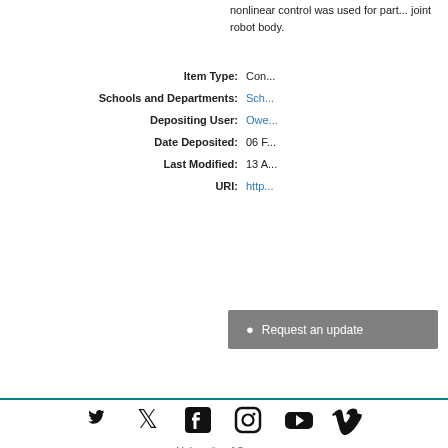nonlinear control was used for part... joint robot body.
| Label | Value |
| --- | --- |
| Item Type: | Con... |
| Schools and Departments: | Sch... |
| Depositing User: | Owe... |
| Date Deposited: | 06 F... |
| Last Modified: | 13 A... |
| URI: | http... |
Request an update
University of Sussex
Sussex House, Falmer
Brighton, BN1 9RH
United Kingdom